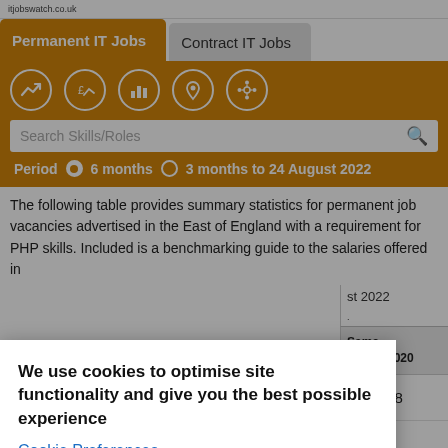itjobswatch.co.uk
Permanent IT Jobs | Contract IT Jobs
[Figure (screenshot): Orange navigation bar with 5 icon circles (trend, salary trend, bar chart, location pin, network), a search box labeled 'Search Skills/Roles', and a period selector showing '6 months' selected and '3 months to 24 August 2022']
The following table provides summary statistics for permanent job vacancies advertised in the East of England with a requirement for PHP skills. Included is a benchmarking guide to the salaries offered in
st 2022
Same period 2020
38
We use cookies to optimise site functionality and give you the best possible experience
Cookie Preferences
Accept
Rank change year-on-year  ▼ -34  ▼ -56  ▲ +26